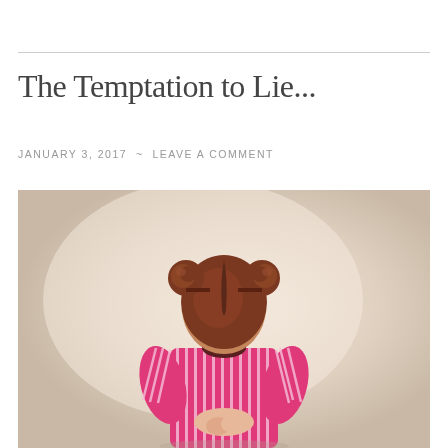The Temptation to Lie...
JANUARY 3, 2017 ~ LEAVE A COMMENT
[Figure (photo): A young red-haired girl with pigtail buns, seen from behind, wearing a pink and white striped shirt, with her hands clasped behind her back, standing against a pale beige/cream background.]